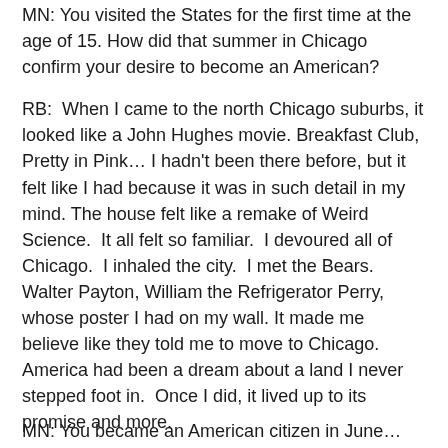MN: You visited the States for the first time at the age of 15. How did that summer in Chicago confirm your desire to become an American?
RB:  When I came to the north Chicago suburbs, it looked like a John Hughes movie. Breakfast Club, Pretty in Pink… I hadn't been there before, but it felt like I had because it was in such detail in my mind. The house felt like a remake of Weird Science.  It all felt so familiar.  I devoured all of Chicago.  I inhaled the city.  I met the Bears. Walter Payton, William the Refrigerator Perry, whose poster I had on my wall. It made me believe like they told me to move to Chicago.  America had been a dream about a land I never stepped foot in.  Once I did, it lived up to its promise and more.
MN: You became an American citizen in June…